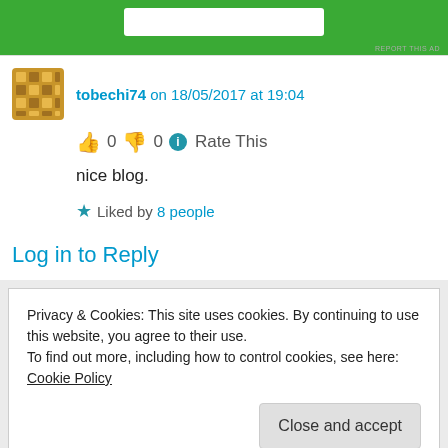[Figure (other): Green advertisement banner at top of page]
REPORT THIS AD
tobechi74 on 18/05/2017 at 19:04
👍 0 👎 0 ℹ Rate This
nice blog.
★ Liked by 8 people
Log in to Reply
Privacy & Cookies: This site uses cookies. By continuing to use this website, you agree to their use.
To find out more, including how to control cookies, see here: Cookie Policy
Close and accept
Bidi...